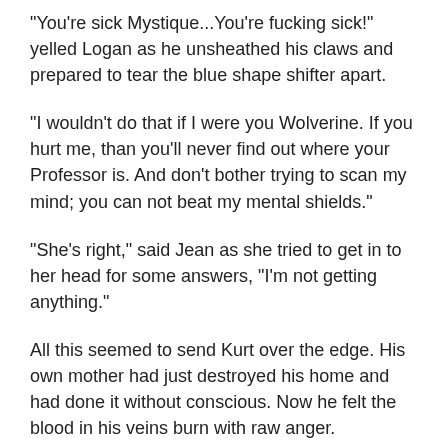"You're sick Mystique...You're fucking sick!" yelled Logan as he unsheathed his claws and prepared to tear the blue shape shifter apart.
"I wouldn't do that if I were you Wolverine. If you hurt me, than you'll never find out where your Professor is. And don't bother trying to scan my mind; you can not beat my mental shields."
"She's right," said Jean as she tried to get in to her head for some answers, "I'm not getting anything."
All this seemed to send Kurt over the edge. His own mother had just destroyed his home and had done it without conscious. Now he felt the blood in his veins burn with raw anger.
"YOU EVIL BITCH!" yelled Kurt as he tackled Mystique to the ground and wrapped his hands firmly around her